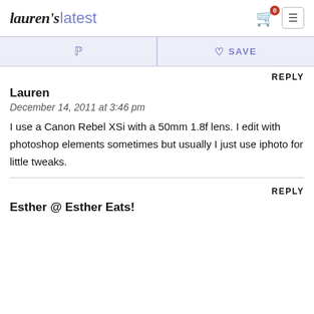lauren's latest
Pinterest | ♡ SAVE
REPLY
Lauren
December 14, 2011 at 3:46 pm
I use a Canon Rebel XSi with a 50mm 1.8f lens. I edit with photoshop elements sometimes but usually I just use iphoto for little tweaks.
REPLY
Esther @ Esther Eats!